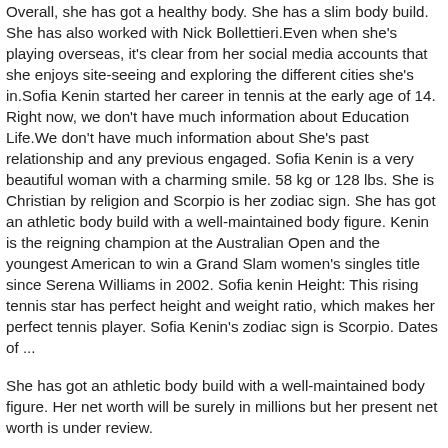Overall, she has got a healthy body. She has a slim body build. She has also worked with Nick Bollettieri.Even when she's playing overseas, it's clear from her social media accounts that she enjoys site-seeing and exploring the different cities she's in.Sofia Kenin started her career in tennis at the early age of 14. Right now, we don't have much information about Education Life.We don't have much information about She's past relationship and any previous engaged. Sofia Kenin is a very beautiful woman with a charming smile. 58 kg or 128 lbs. She is Christian by religion and Scorpio is her zodiac sign. She has got an athletic body build with a well-maintained body figure. Kenin is the reigning champion at the Australian Open and the youngest American to win a Grand Slam women's singles title since Serena Williams in 2002. Sofia kenin Height: This rising tennis star has perfect height and weight ratio, which makes her perfect tennis player. Sofia Kenin's zodiac sign is Scorpio. Dates of ...
She has got an athletic body build with a well-maintained body figure. Her net worth will be surely in millions but her present net worth is under review.
Social...